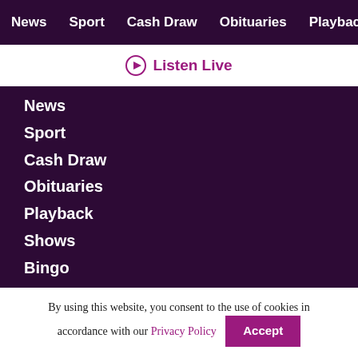News   Sport   Cash Draw   Obituaries   Playback   S
Listen Live
News
Sport
Cash Draw
Obituaries
Playback
Shows
Bingo
By using this website, you consent to the use of cookies in accordance with our Privacy Policy  Accept